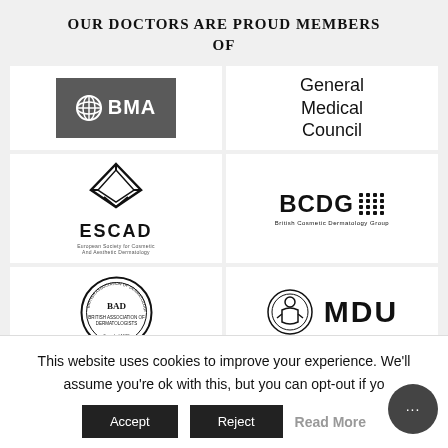our Doctors Are Proud Members Of
[Figure (logo): BMA (British Medical Association) logo - grey rectangle with globe icon and BMA text in white]
[Figure (logo): General Medical Council logo - text in serif font]
[Figure (logo): ESCAD (European Society for Cosmetic and Aesthetic Dermatology) logo with geometric diamond icon]
[Figure (logo): BCDG (British Cosmetic Dermatology Group) logo with dot grid icon]
[Figure (logo): BAD (British Association of Dermatologists) circular seal logo]
[Figure (logo): MDU (Medical Defence Union) logo with circular emblem and MDU text]
This website uses cookies to improve your experience. We'll assume you're ok with this, but you can opt-out if you